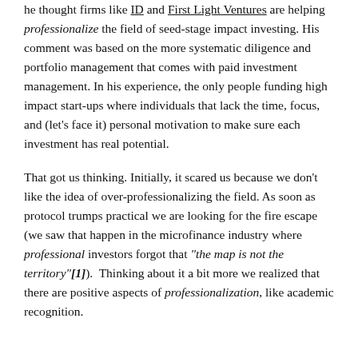he thought firms like ID and First Light Ventures are helping professionalize the field of seed-stage impact investing. His comment was based on the more systematic diligence and portfolio management that comes with paid investment management. In his experience, the only people funding high impact start-ups where individuals that lack the time, focus, and (let's face it) personal motivation to make sure each investment has real potential.
That got us thinking. Initially, it scared us because we don't like the idea of over-professionalizing the field. As soon as protocol trumps practical we are looking for the fire escape (we saw that happen in the microfinance industry where professional investors forgot that "the map is not the territory"[1]).  Thinking about it a bit more we realized that there are positive aspects of professionalization, like academic recognition.